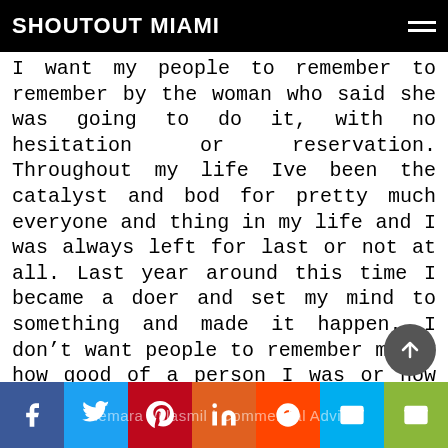SHOUTOUT MIAMI
I want my people to remember to remember by the woman who said she was going to do it, with no hesitation or reservation. Throughout my life Ive been the catalyst and bod for pretty much everyone and thing in my life and I was always left for last or not at all. Last year around this time I became a doer and set my mind to something and made it happen. I don't want people to remember me by how good of a person I was or how much I meant to them I want my legacy to be one of a doer who inspire other to live their wildest dream, make it happen and walk in their truth. Read more>>
Yiemara Villasmil | Commercial Advisor